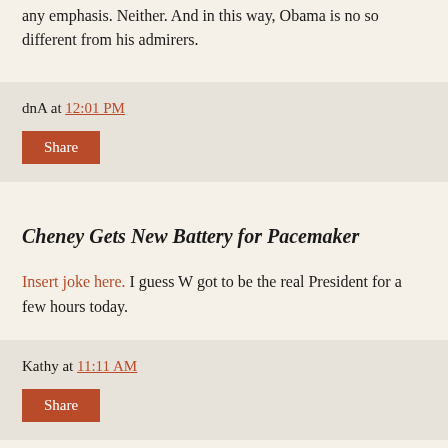any emphasis. Neither. And in this way, Obama is no so different from his admirers.
dnA at 12:01 PM
Share
Cheney Gets New Battery for Pacemaker
Insert joke here. I guess W got to be the real President for a few hours today.
Kathy at 11:11 AM
Share
Fox "News", "Pastor" John Hagee, and War with Iran